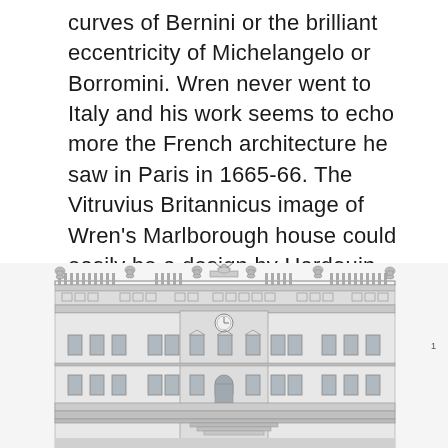curves of Bernini or the brilliant eccentricity of Michelangelo or Borromini. Wren never went to Italy and his work seems to echo more the French architecture he saw in Paris in 1665-66. The Vitruvius Britannicus image of Wren's Marlborough house could easily be a design by Hardouin-Mansart or Blondel. This French flavour is evident in many of the great houses of the 17th and early 18th Century. Petworth, Chatsworth, Castle Howard and Easton Neston all have this quality to a greater or lesser extent.
[Figure (illustration): Architectural elevation drawing of a grand classical English Baroque building facade, showing a symmetrical front with a central pediment featuring a decorative sculptural element (possibly a coat of arms or figure), flanked by urns or finials on the roofline, rows of windows, rusticated lower story, and columns or pilasters. The drawing is monochrome/grayscale in the style of a Vitruvius Britannicus engraving.]